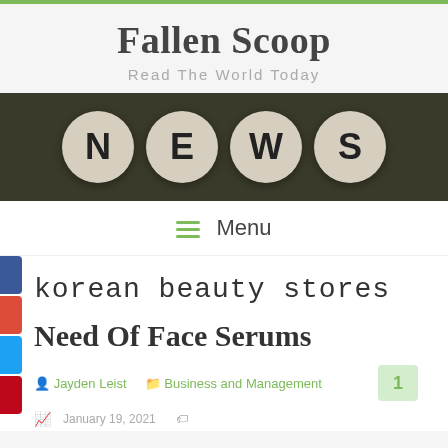Fallen Scoop
Read The World Today
[Figure (photo): Four round letter tiles spelling NEWS on a dark background]
≡ Menu
korean beauty stores
Need Of Face Serums
Jayden Leist   Business and Management   1